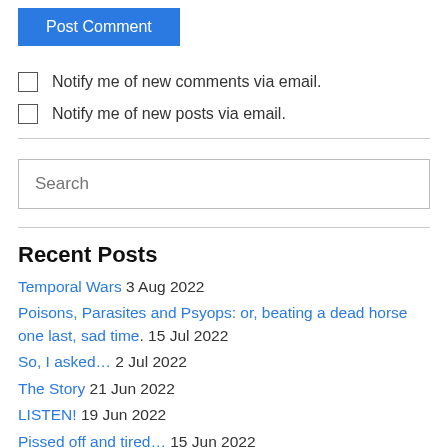Post Comment
Notify me of new comments via email.
Notify me of new posts via email.
Search
Recent Posts
Temporal Wars 3 Aug 2022
Poisons, Parasites and Psyops: or, beating a dead horse one last, sad time. 15 Jul 2022
So, I asked… 2 Jul 2022
The Story 21 Jun 2022
LISTEN! 19 Jun 2022
Pissed off and tired… 15 Jun 2022